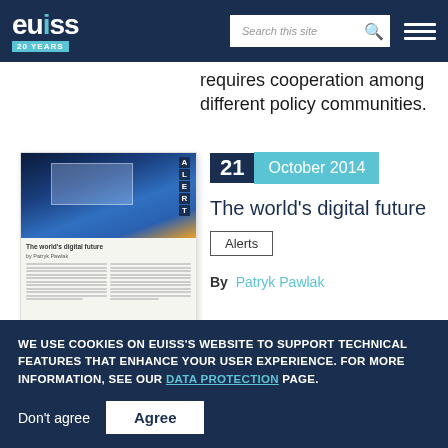EUISS 20 YEARS | Search this site
requires cooperation among different policy communities.
[Figure (illustration): Thumbnail of EUISS Alert document titled 'The world's digital future' by Patryk Pawlak, showing a conference hall image and two columns of text]
21 October 2014
The world's digital future
Alerts
By Patryk Pawlak
WE USE COOKIES ON EUISS'S WEBSITE TO SUPPORT TECHNICAL FEATURES THAT ENHANCE YOUR USER EXPERIENCE. FOR MORE INFORMATION, SEE OUR DATA PROTECTION PAGE.
Don't agree   Agree